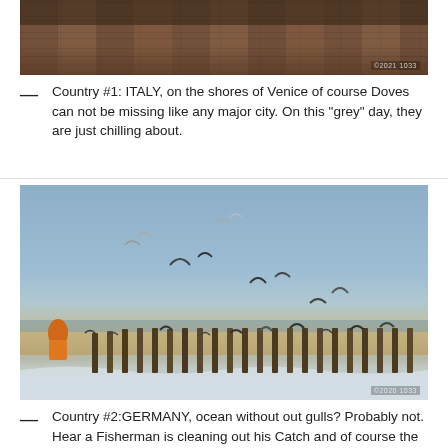[Figure (photo): Top portion of a brick wall photo taken on the shores of Venice, Italy. Partial view showing old stone/brick texture with muted reddish-brown tones.]
Country #1: ITALY, on the shores of Venice of course Doves can not be missing like any major city. On this "grey" day, they are just chilling about.
[Figure (photo): Beach scene in Germany with seagulls flying over the water near wooden breakwater poles. A person in an orange outfit is crouched near the water's edge. Blue-grey sky, sandy shore, and ocean waves visible.]
Country #2:GERMANY, ocean without out gulls? Probably not. Hear a Fisherman is cleaning out his Catch and of course the